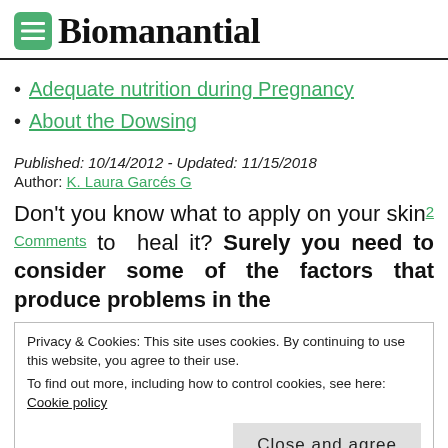Biomanantial
Adequate nutrition during Pregnancy
About the Dowsing
Published: 10/14/2012 - Updated: 11/15/2018
Author: K. Laura Garcés G
Don't you know what to apply on your skin to heal it? Surely you need to consider some of the factors that produce problems in the
Privacy & Cookies: This site uses cookies. By continuing to use this website, you agree to their use.
To find out more, including how to control cookies, see here: Cookie policy
[Close and agree button]
health of our cells, when we have emotions such